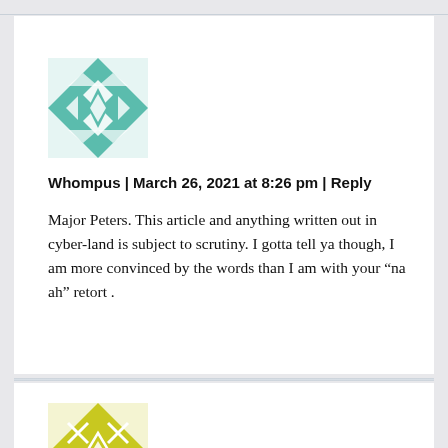[Figure (illustration): Teal/green quilted geometric pattern avatar icon for user Whompus]
Whompus | March 26, 2021 at 8:26 pm | Reply
Major Peters. This article and anything written out in cyber-land is subject to scrutiny. I gotta tell ya though, I am more convinced by the words than I am with your “na ah” retort .
[Figure (illustration): Yellow-green quilted geometric pattern avatar icon for second commenter]